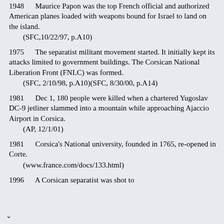1948  Maurice Papon was the top French official and authorized American planes loaded with weapons bound for Israel to land on the island.
    (SFC,10/22/97, p.A10)
1975  The separatist militant movement started. It initially kept its attacks limited to government buildings. The Corsican National Liberation Front (FNLC) was formed.
    (SFC, 2/10/98, p.A10)(SFC, 8/30/00, p.A14)
1981  Dec 1, 180 people were killed when a chartered Yugoslav DC-9 jetliner slammed into a mountain while approaching Ajaccio Airport in Corsica.
    (AP, 12/1/01)
1981  Corsica's National university, founded in 1765, re-opened in Corte.
    (www.france.com/docs/133.html)
1996  A Corsican separatist was shot to